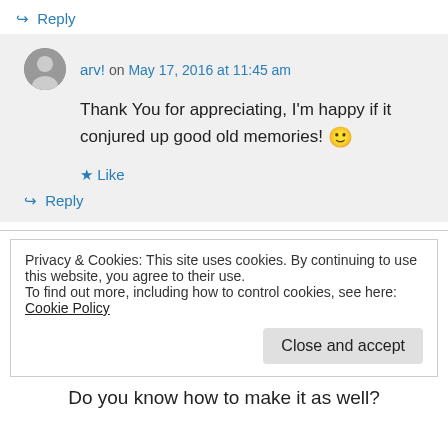↪ Reply
arv! on May 17, 2016 at 11:45 am
Thank You for appreciating, I'm happy if it conjured up good old memories! 🙂
★ Like
↪ Reply
Privacy & Cookies: This site uses cookies. By continuing to use this website, you agree to their use. To find out more, including how to control cookies, see here: Cookie Policy
Close and accept
Do you know how to make it as well?